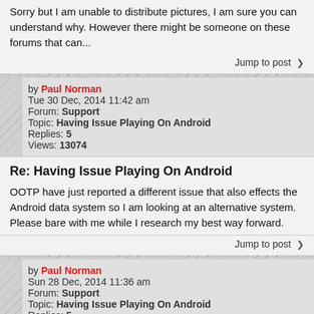Sorry but I am unable to distribute pictures, I am sure you can understand why. However there might be someone on these forums that can...
Jump to post >
by Paul Norman
Tue 30 Dec, 2014 11:42 am
Forum: Support
Topic: Having Issue Playing On Android
Replies: 5
Views: 13074
Re: Having Issue Playing On Android
OOTP have just reported a different issue that also effects the Android data system so I am looking at an alternative system. Please bare with me while I research my best way forward.
Jump to post >
by Paul Norman
Sun 28 Dec, 2014 11:36 am
Forum: Support
Topic: Having Issue Playing On Android
Replies: 5
Views: 13074
Re: Having Issue Playing On Android
...